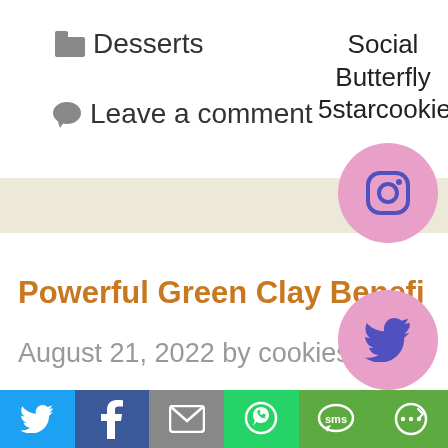📁 Desserts
💬 Leave a comment
Social Butterfly 5starcookies
[Figure (illustration): Pink circle with Instagram icon]
Powerful Green Clay Benefi...
August 21, 2022 by cookies
[Figure (illustration): Pink circle with Twitter bird icon]
[Figure (illustration): Pink circle with Pinterest P icon]
[Figure (illustration): Red Pinterest Save button]
[Figure (infographic): Social share toolbar with Twitter, Facebook, Email, WhatsApp, SMS, and More buttons]